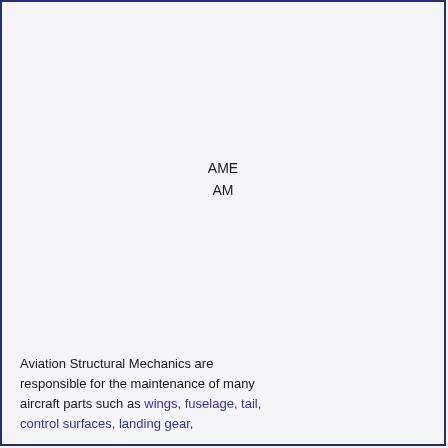AME
AM
Aviation Structural Mechanics are responsible for the maintenance of many aircraft parts such as wings, fuselage, tail, control surfaces, landing gear,